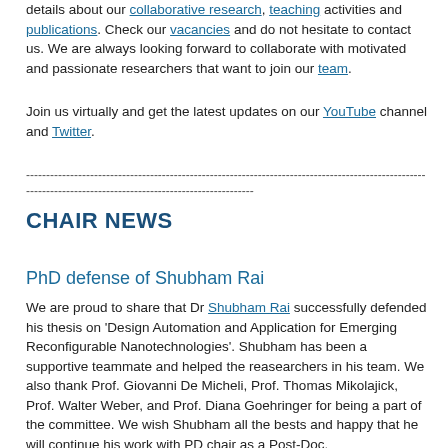details about our collaborative research, teaching activities and publications. Check our vacancies and do not hesitate to contact us. We are always looking forward to collaborate with motivated and passionate researchers that want to join our team.
Join us virtually and get the latest updates on our YouTube channel and Twitter.
----------------------------------------------------------------------------------------------------
---------------------------------------------------------
CHAIR NEWS
PhD defense of Shubham Rai
We are proud to share that Dr Shubham Rai successfully defended his thesis on 'Design Automation and Application for Emerging Reconfigurable Nanotechnologies'. Shubham has been a supportive teammate and helped the reasearchers in his team. We also thank Prof. Giovanni De Micheli, Prof. Thomas Mikolajick, Prof. Walter Weber, and Prof. Diana Goehringer for being a part of the committee. We wish Shubham all the bests and happy that he will continue his work with PD chair as a Post-Doc.